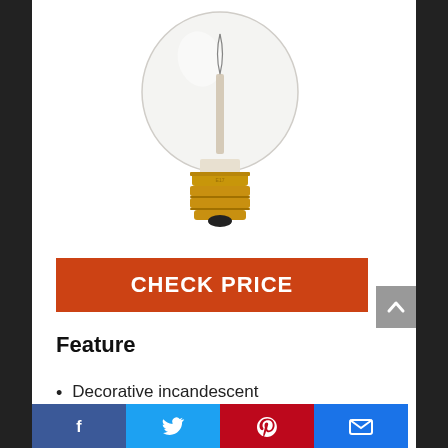[Figure (photo): A clear globe-shaped incandescent light bulb with a gold/brass screw base (E17 intermediate base), on white background. The filament support structure is visible inside the clear glass globe.]
CHECK PRICE
Feature
Decorative incandescent